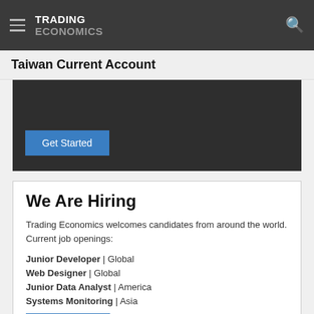TRADING ECONOMICS
Taiwan Current Account
[Figure (other): Dark promotional block with a blue 'Get Started' button]
We Are Hiring
Trading Economics welcomes candidates from around the world. Current job openings:
Junior Developer | Global
Web Designer | Global
Junior Data Analyst | America
Systems Monitoring | Asia